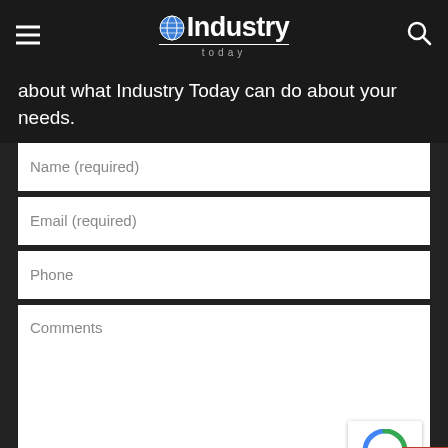Industry Today
about what Industry Today can do about your needs.
Name (required)
Email (required)
Phone
Comments